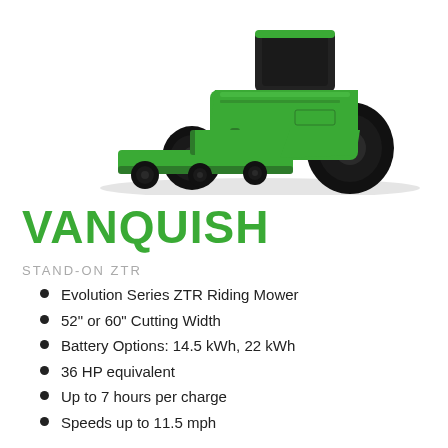[Figure (photo): Green electric stand-on zero-turn radius (ZTR) riding mower (Vanquish model) shown at an angle, with large rear tires, front cutting deck with smaller wheels, and a black control unit on top. The machine is bright green with black accents.]
VANQUISH
STAND-ON ZTR
Evolution Series ZTR Riding Mower
52" or 60" Cutting Width
Battery Options: 14.5 kWh, 22 kWh
36 HP equivalent
Up to 7 hours per charge
Speeds up to 11.5 mph